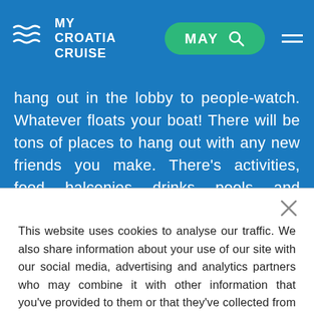MY CROATIA CRUISE — MAY
hang out in the lobby to people-watch. Whatever floats your boat! There will be tons of places to hang out with any new friends you make. There's activities, food, balconies, drinks, pools, and parties to hit as well!
This website uses cookies to analyse our traffic. We also share information about your use of our site with our social media, advertising and analytics partners who may combine it with other information that you've provided to them or that they've collected from your use of their services.
ACCEPT ALL
ACCEPT NECESSARY